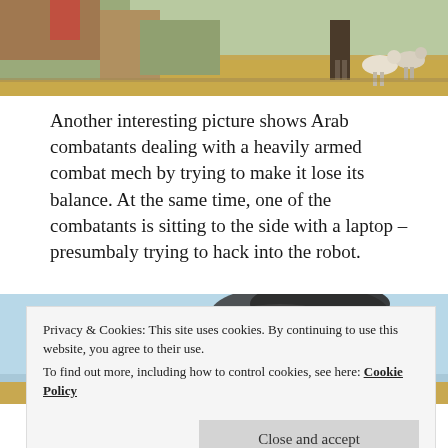[Figure (photo): Partial top photograph showing a colorful scene, possibly a Middle Eastern village setting with goats and a person visible on the right side.]
Another interesting picture shows Arab combatants dealing with a heavily armed combat mech by trying to make it lose its balance. At the same time, one of the combatants is sitting to the side with a laptop – presumbaly trying to hack into the robot.
[Figure (photo): Partial bottom photograph showing what appears to be a burning or smoking mechanical combat machine against a light blue sky background.]
Privacy & Cookies: This site uses cookies. By continuing to use this website, you agree to their use.
To find out more, including how to control cookies, see here: Cookie Policy
Close and accept